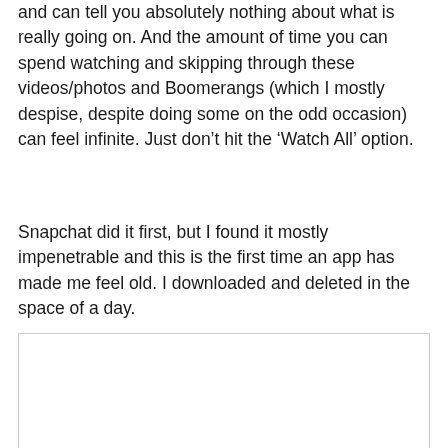and can tell you absolutely nothing about what is really going on. And the amount of time you can spend watching and skipping through these videos/photos and Boomerangs (which I mostly despise, despite doing some on the odd occasion) can feel infinite. Just don't hit the 'Watch All' option.
Snapchat did it first, but I found it mostly impenetrable and this is the first time an app has made me feel old. I downloaded and deleted in the space of a day.
[Figure (other): A blank white rectangle with a thin light grey border, appearing to be a placeholder image or embedded media area.]